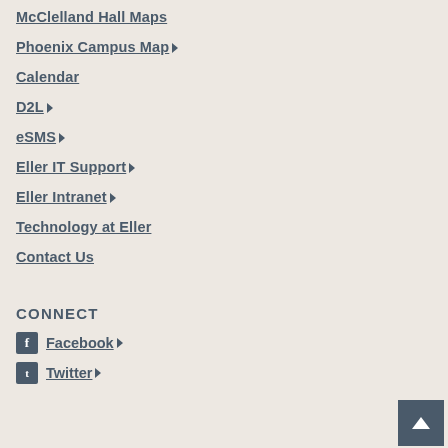McClelland Hall Maps
Phoenix Campus Map ▸
Calendar
D2L ▸
eSMS ▸
Eller IT Support ▸
Eller Intranet ▸
Technology at Eller
Contact Us
CONNECT
Facebook ▸
Twitter ▸